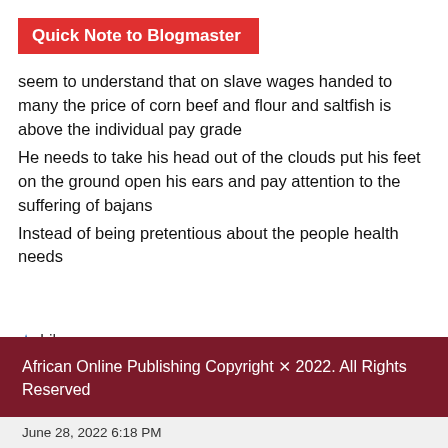Quick Note to Blogmaster
seem to understand that on slave wages handed to many the price of corn beef and flour and saltfish is above the individual pay grade
He needs to take his head out of the clouds put his feet on the ground open his ears and pay attention to the suffering of bajans
Instead of being pretentious about the people health needs
★ Like
African Online Publishing Copyright © 2022. All Rights Reserved
June 28, 2022 6:18 PM